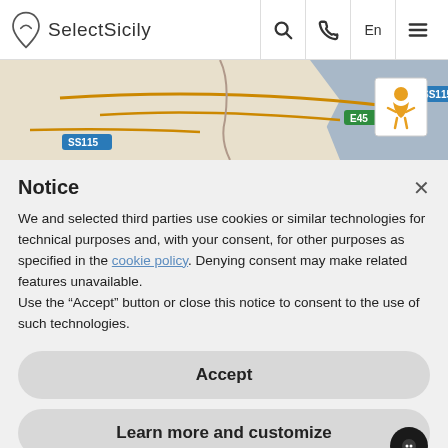SelectSicily
[Figure (screenshot): Map showing Sicilian coastal area with road labels SS115 and E45]
Notice
We and selected third parties use cookies or similar technologies for technical purposes and, with your consent, for other purposes as specified in the cookie policy. Denying consent may make related features unavailable.
Use the "Accept" button or close this notice to consent to the use of such technologies.
Accept
Learn more and customize